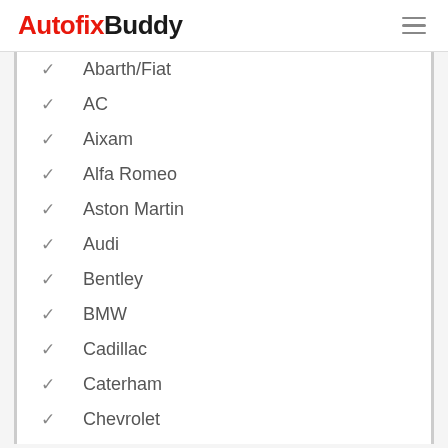AutofixBuddy
Abarth/Fiat
AC
Aixam
Alfa Romeo
Aston Martin
Audi
Bentley
BMW
Cadillac
Caterham
Chevrolet
Chrysler
Citroen